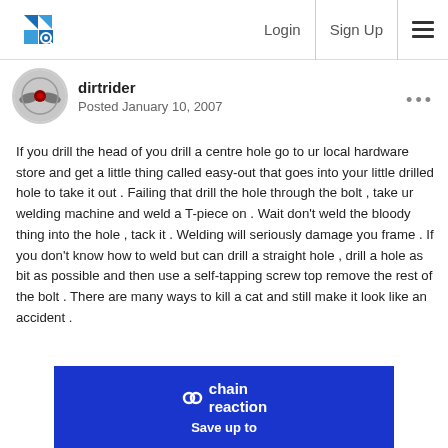Login | Sign Up
dirtrider
Posted January 10, 2007
If you drill the head of you drill a centre hole go to ur local hardware store and get a little thing called easy-out that goes into your little drilled hole to take it out . Failing that drill the hole through the bolt , take ur welding machine and weld a T-piece on . Wait don't weld the bloody thing into the hole , tack it . Welding will seriously damage you frame . If you don't know how to weld but can drill a straight hole , drill a hole as bit as possible and then use a self-tapping screw top remove the rest of the bolt . There are many ways to kill a cat and still make it look like an accident .
[Figure (logo): Chain Reaction Cycles advertisement banner with logo and 'Save up to' text]